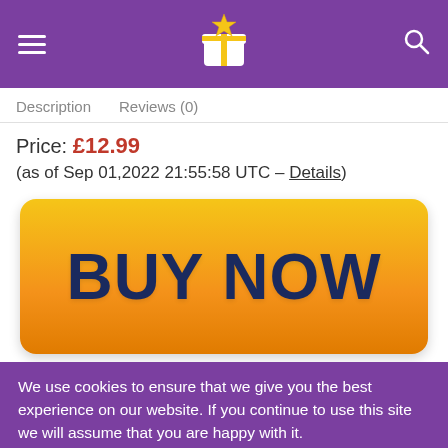Navigation header with hamburger menu, logo, and search icon
Description   Reviews (0)
Price: £12.99
(as of Sep 01,2022 21:55:58 UTC – Details)
[Figure (other): Large yellow-to-orange gradient BUY NOW button with dark navy bold text]
We use cookies to ensure that we give you the best experience on our website. If you continue to use this site we will assume that you are happy with it.
Cookie Settings   Accept All
£12.99   BUY NOW